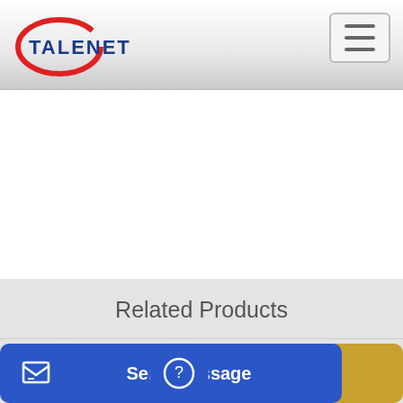[Figure (logo): Talenet company logo with red ellipse and blue text]
[Figure (other): Hamburger menu icon (three horizontal lines)]
Related Products
Asphalt Concrete Batch Station Supplier From China RMC
Foton Self Loading Concrete Mixer
Send Message
Inquiry Online